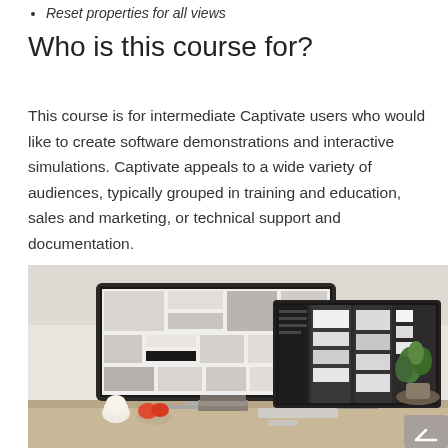Reset properties for all views
Who is this course for?
This course is for intermediate Captivate users who would like to create software demonstrations and interactive simulations. Captivate appeals to a wide variety of audiences, typically grouped in training and education, sales and marketing, or technical support and documentation.
[Figure (photo): Two Apple iMac monitors on a desk showing design/software interfaces, with a plant and decorative items in the background. A scroll-to-top button is visible in the bottom right corner.]